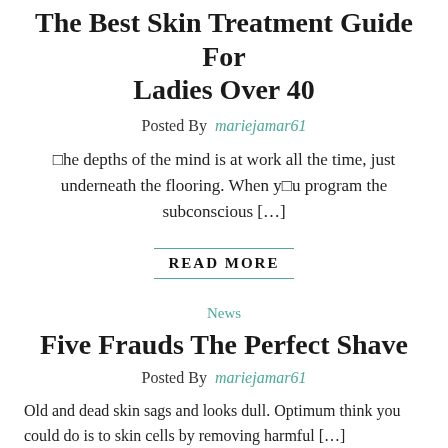The Best Skin Treatment Guide For Ladies Over 40
Posted By mariejamar61
the depths of the mind is at work all the time, just underneath the flooring. When you program the subconscious […]
READ MORE
News
Five Frauds The Perfect Shave
Posted By mariejamar61
Old and dead skin sags and looks dull. Optimum think you could do is to skin cells by removing harmful […]